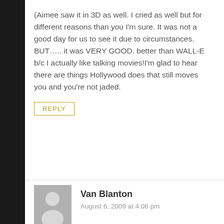(Aimee saw it in 3D as well. I cried as well but for different reasons than you I'm sure. It was not a good day for us to see it due to circumstances. BUT….. it was VERY GOOD. better than WALL-E b/c I actually like talking movies!I'm glad to hear there are things Hollywood does that still moves you and you're not jaded.
REPLY
Van Blanton
August 6, 2009 at 4:06 pm